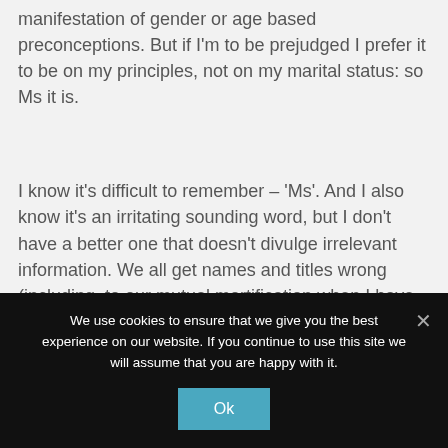manifestation of gender or age based preconceptions. But if I'm to be prejudged I prefer it to be on my principles, not on my marital status: so Ms it is.
I know it's difficult to remember – 'Ms'. And I also know it's an irritating sounding word, but I don't have a better one that doesn't divulge irrelevant information. We all get names and titles wrong (including  to our mutual mortification when I have, on more than one occasion when a newbie, called a female Judge 'Sir'.
We use cookies to ensure that we give you the best experience on our website. If you continue to use this site we will assume that you are happy with it.